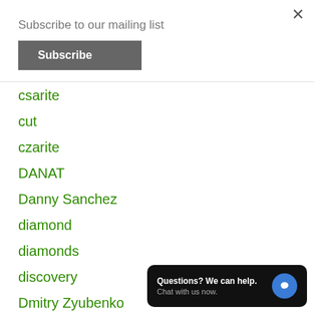Subscribe to our mailing list
Subscribe
csarite
cut
czarite
DANAT
Danny Sanchez
diamond
diamonds
discovery
Dmitry Zyubenko
DUG
Questions? We can help. Chat with us now.